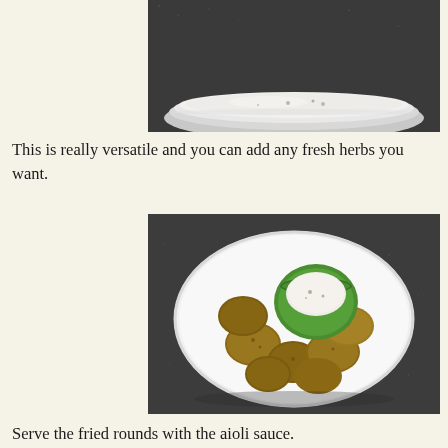[Figure (photo): Close-up of a white bowl containing creamy white aioli sauce on a dark granite surface, viewed from above, partially cropped]
This is really versatile and you can add any fresh herbs you want.
[Figure (photo): Overhead view of a white plate with fried zucchini rounds arranged around a small green bowl filled with creamy white aioli sauce, on a dark granite surface]
Serve the fried rounds with the aioli sauce.
[Figure (photo): Close-up of the plate with fried zucchini rounds and green bowl with aioli, partially cropped from below]